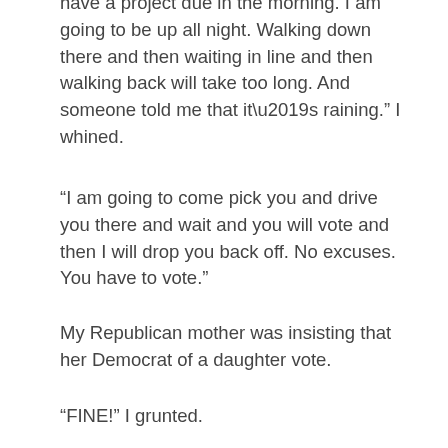have a project due in the morning. I am going to be up all night. Walking down there and then waiting in line and then walking back will take too long. And someone told me that it’s raining.” I whined.
“I am going to come pick you and drive you there and wait and you will vote and then I will drop you back off. No excuses. You have to vote.”
My Republican mother was insisting that her Democrat of a daughter vote.
“FINE!” I grunted.